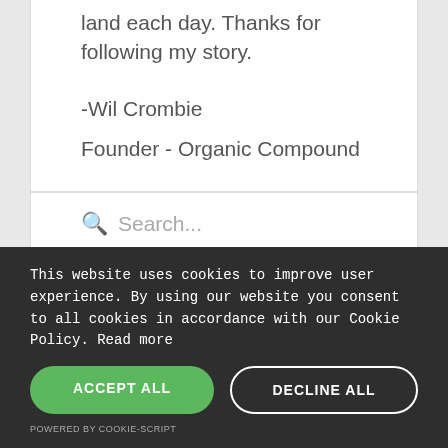land each day. Thanks for following my story.
-Wil Crombie
Founder - Organic Compound
Search...
This website uses cookies to improve user experience. By using our website you consent to all cookies in accordance with our Cookie Policy. Read more
ACCEPT ALL
DECLINE ALL
POWERED BY COOKIE-SCRIPT